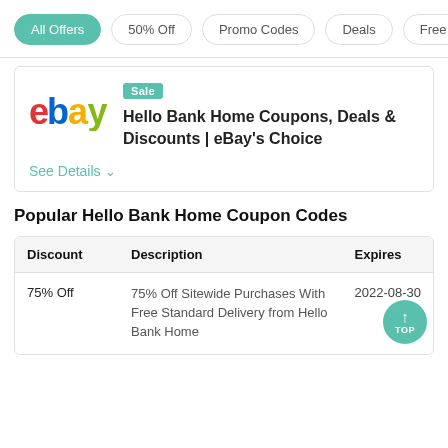All Offers | 50% Off | Promo Codes | Deals | Free Shipping
[Figure (logo): eBay logo with colorful letters]
Sale
Hello Bank Home Coupons, Deals & Discounts | eBay's Choice
See Details ∨
Popular Hello Bank Home Coupon Codes
| Discount | Description | Expires |
| --- | --- | --- |
| 75% Off | 75% Off Sitewide Purchases With Free Standard Delivery from Hello Bank Home | 2022-08-30 |